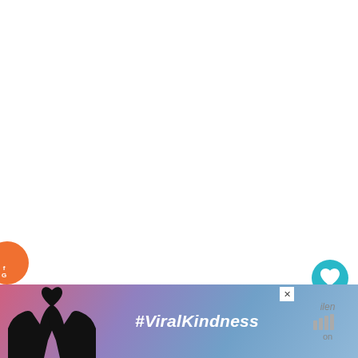[Figure (screenshot): White blank area (top of article page)]
[Figure (illustration): Teal circular like/heart button with heart icon, count of 1 below, and white circular share button with share icon]
[Figure (screenshot): What's Next panel showing thumbnail of silhouettes at sunset and text 'WHAT'S NEXT → Best camera settings for...']
In the morning the weather forecast proved to
[Figure (photo): Advertisement banner with gradient purple/pink background showing hands forming heart shape silhouette and text '#ViralKindness']